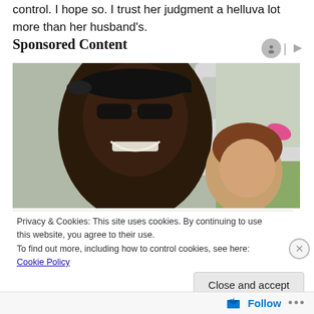control. I hope so. I trust her judgment a helluva lot more than her husband's.
Sponsored Content
[Figure (photo): A smiling man wearing sunglasses and a black cap poses cheek-to-cheek with a young girl wearing a pink bow, outdoors near a white vehicle.]
Privacy & Cookies: This site uses cookies. By continuing to use this website, you agree to their use.
To find out more, including how to control cookies, see here: Cookie Policy
Close and accept
Follow ...